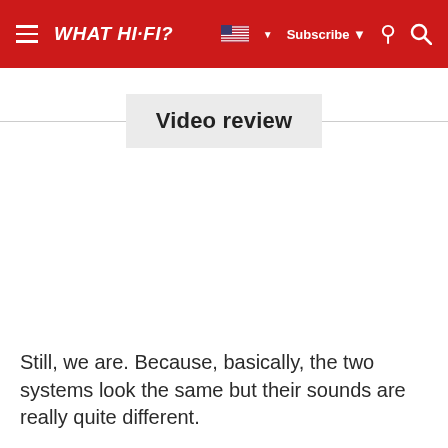WHAT HI-FI?
Video review
Still, we are. Because, basically, the two systems look the same but their sounds are really quite different.